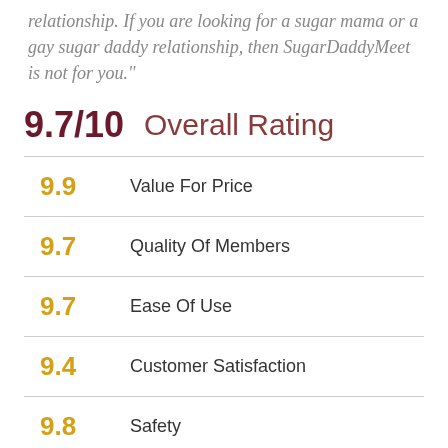relationship. If you are looking for a sugar mama or a gay sugar daddy relationship, then SugarDaddyMeet is not for you."
| Score | Category |
| --- | --- |
| 9.7/10 | Overall Rating |
| 9.9 | Value For Price |
| 9.7 | Quality Of Members |
| 9.7 | Ease Of Use |
| 9.4 | Customer Satisfaction |
| 9.8 | Safety |
What's Sugar Daddy Meet?